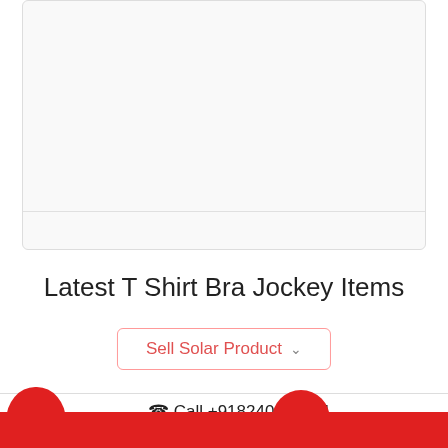[Figure (other): A product listing card placeholder with a light gray bordered rectangle divided into a large top section and a small bottom section, no image visible]
Latest T Shirt Bra Jockey Items
Sell Solar Product ∨
📞 Call +918240130941
👆 Click 2 WhatsApp 8240130941
60%
57%